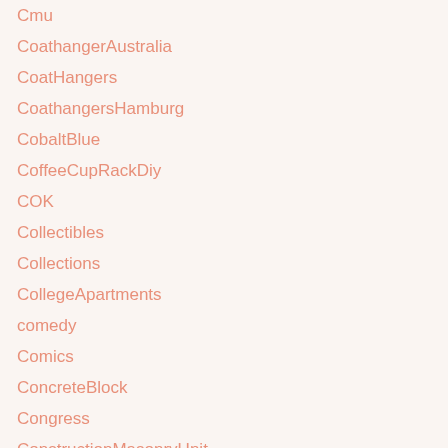Cmu
CoathangerAustralia
CoatHangers
CoathangersHamburg
CobaltBlue
CoffeeCupRackDiy
COK
Collectibles
Collections
CollegeApartments
comedy
Comics
ConcreteBlock
Congress
ConstructionMasonryUnit